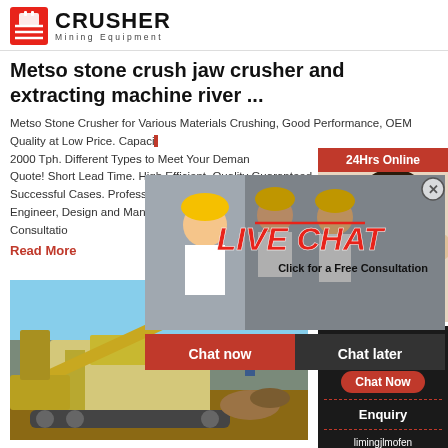[Figure (logo): Crusher Mining Equipment logo with red shopping bag icon and bold CRUSHER text]
Metso stone crush jaw crusher and extracting machine river ...
Metso Stone Crusher for Various Materials Crushing, Good Performance, OEM Quality at Low Price. Capacity from 30 t- 2000 Tph. Different Types to Meet Your Demand. Get Free Quote! Short Lead Time. High Efficient. Quality Guaranteed. Successful Cases. Professional Engineer, Design and Manufacture, Free Consultation
Read More
[Figure (photo): Industrial jaw crusher machinery on a construction site, large yellow excavator and crushing equipment]
[Figure (photo): Live Chat overlay with construction workers in hard hats and LIVE CHAT text in red italic, Click for a Free Consultation, Chat now and Chat later buttons]
[Figure (photo): Right sidebar: 24Hrs Online banner, female customer service agent with headset, Need questions & suggestion? Chat Now button, Enquiry, limingjlmofen@sina.com]
Industrial Jaw Crushers For Sale Affordable Crushing